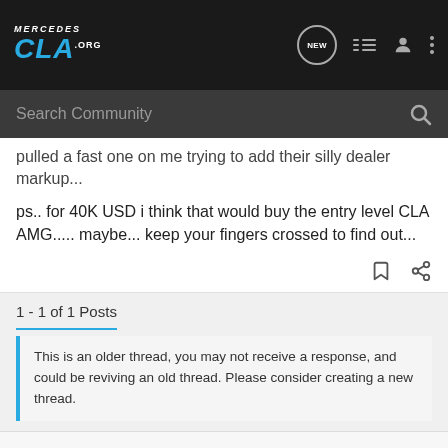MercedesCLA.org
pulled a fast one on me trying to add their silly dealer markup...
ps.. for 40K USD i think that would buy the entry level CLA AMG..... maybe... keep your fingers crossed to find out...
1 - 1 of 1 Posts
This is an older thread, you may not receive a response, and could be reviving an old thread. Please consider creating a new thread.
Join the discussion